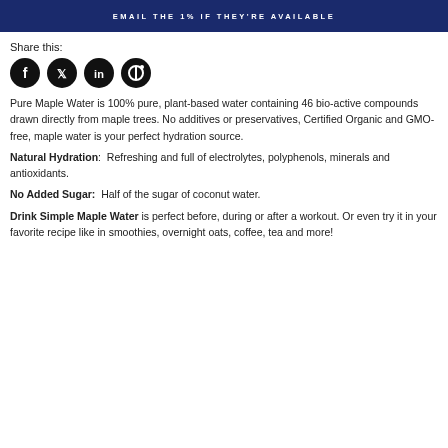EMAIL THE 1% IF THEY'RE AVAILABLE
Share this:
[Figure (illustration): Four social media icon circles (Facebook, Twitter, LinkedIn, Pinterest) in black]
Pure Maple Water is 100% pure, plant-based water containing 46 bio-active compounds drawn directly from maple trees. No additives or preservatives, Certified Organic and GMO-free, maple water is your perfect hydration source.
Natural Hydration:  Refreshing and full of electrolytes, polyphenols, minerals and antioxidants.
No Added Sugar:  Half of the sugar of coconut water.
Drink Simple Maple Water is perfect before, during or after a workout. Or even try it in your favorite recipe like in smoothies, overnight oats, coffee, tea and more!